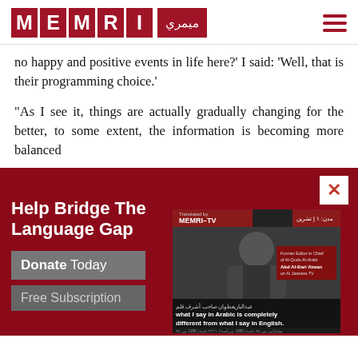[Figure (logo): MEMRI logo with red boxes for each letter M, E, M, R, I and Arabic text میمری]
no happy and positive events in life here?' I said: 'Well, that is their programming choice.'
"As I see it, things are actually gradually changing for the better, to some extent, the information is becoming more balanced
[Figure (screenshot): MEMRI donation popup on dark red background with 'Help Bridge The Language Gap' heading, Donate Today and Free Subscription buttons, and a video thumbnail of a man speaking with caption 'what I say in Arabic is completely different from what I say in English']